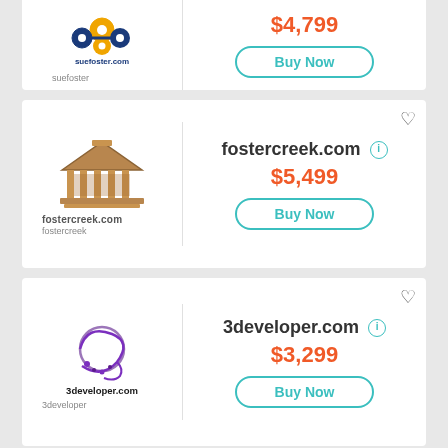[Figure (logo): suefoster.com logo with gears, partial card at top]
$4,799
Buy Now
[Figure (logo): fostercreek.com logo with gazebo/temple building]
fostercreek.com
$5,499
Buy Now
[Figure (logo): 3developer.com logo with globe and swirl]
3developer.com
$3,299
Buy Now